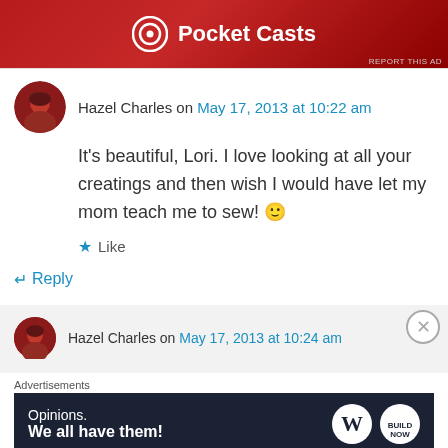[Figure (screenshot): Pocket Casts advertisement banner with red gradient background and white logo and text]
REPORT THIS AD
Hazel Charles on May 17, 2013 at 10:22 am
It's beautiful, Lori. I love looking at all your creatings and then wish I would have let my mom teach me to sew! 🙂
Like
Reply
Hazel Charles on May 17, 2013 at 10:24 am
Advertisements
[Figure (screenshot): WordPress advertisement banner: Opinions. We all have them! with WordPress and Brand Now logos on dark navy background]